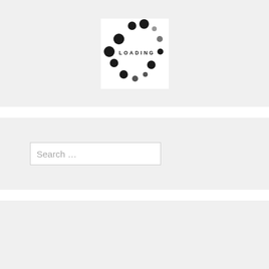[Figure (illustration): A loading spinner animation image on white background with dots arranged in a circle pattern and the text LOADING in the center]
Search …
RECENT POSTS
“Bajrangi Bhaijaan” will be back soon. Says Salman Khan. Read out full story..!!